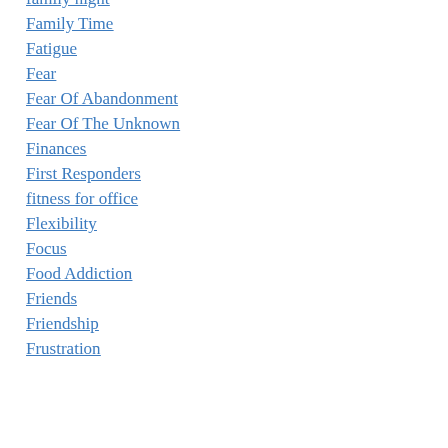family night
Family Time
Fatigue
Fear
Fear Of Abandonment
Fear Of The Unknown
Finances
First Responders
fitness for office
Flexibility
Focus
Food Addiction
Friends
Friendship
Frustration